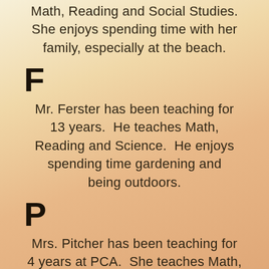Math, Reading and Social Studies. She enjoys spending time with her family, especially at the beach.
F
Mr. Ferster has been teaching for 13 years. He teaches Math, Reading and Science. He enjoys spending time gardening and being outdoors.
P
Mrs. Pitcher has been teaching for 4 years at PCA. She teaches Math, Reading and Writing. She enjoys fishing and taking boat rides with her family in Maryland.